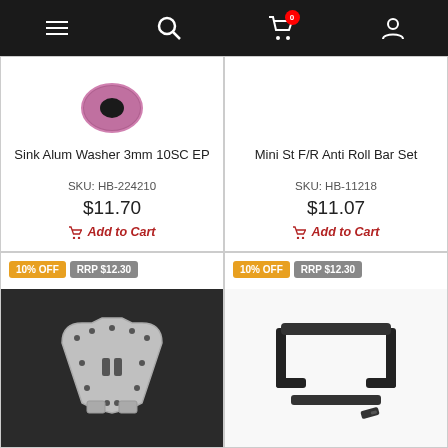Navigation bar with menu, search, cart (0 items), and account icons
[Figure (photo): Pink/purple aluminum washer ring, top-cropped]
Sink Alum Washer 3mm 10SC EP
SKU: HB-224210
$11.70
Add to Cart
[Figure (photo): Mini St F/R Anti Roll Bar Set product (no image visible in upper half)]
Mini St F/R Anti Roll Bar Set
SKU: HB-11218
$11.07
Add to Cart
10% OFF
RRP $12.30
[Figure (photo): Silver metal shock tower / plate with holes, on dark background]
10% OFF
RRP $12.30
[Figure (photo): Black plastic bumper / roll bar set parts on white background]